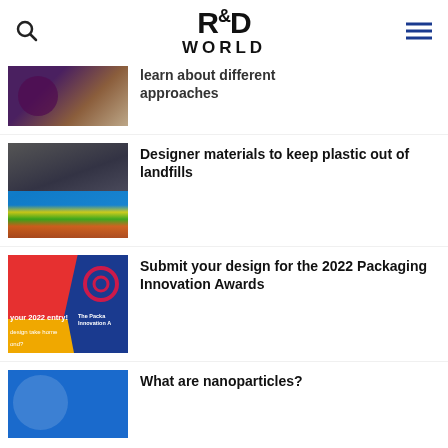R&D WORLD
learn about different approaches
Designer materials to keep plastic out of landfills
Submit your design for the 2022 Packaging Innovation Awards
What are nanoparticles?